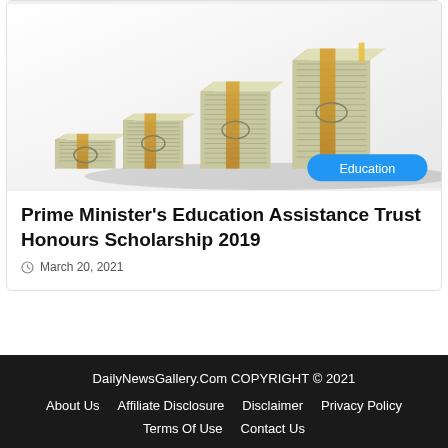[Figure (photo): Stacked bundles of US dollar bills arranged in ascending staircase pattern on white background]
Prime Minister's Education Assistance Trust Honours Scholarship 2019
March 20, 2021
DailyNewsGallery.Com COPYRIGHT © 2021
About Us   Affiliate Disclosure   Disclaimer   Privacy Policy
Terms Of Use   Contact Us